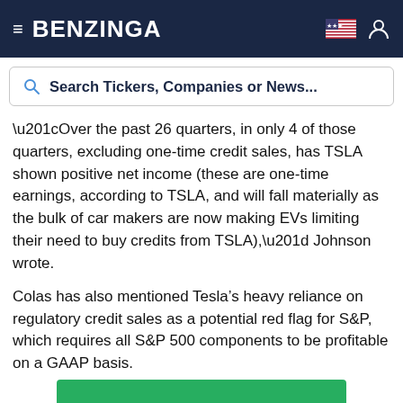BENZINGA
Search Tickers, Companies or News...
“Over the past 26 quarters, in only 4 of those quarters, excluding one-time credit sales, has TSLA shown positive net income (these are one-time earnings, according to TSLA, and will fall materially as the bulk of car makers are now making EVs limiting their need to buy credits from TSLA),” Johnson wrote.
Colas has also mentioned Tesla’s heavy reliance on regulatory credit sales as a potential red flag for S&P, which requires all S&P 500 components to be profitable on a GAAP basis.
[Figure (other): Green banner at bottom of page, partially visible]